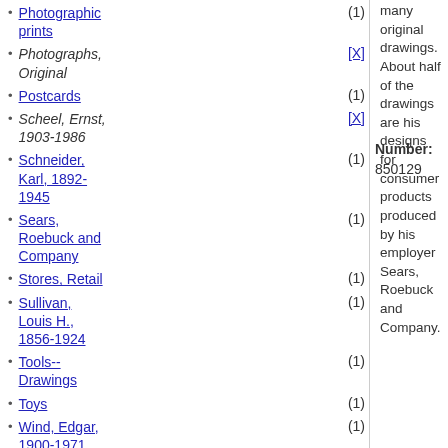Photographic prints (1)
Photographs, Original [X]
Postcards (1)
Scheel, Ernst, 1903-1986 [X]
Schneider, Karl, 1892-1945 (1)
Sears, Roebuck and Company (1)
Stores, Retail (1)
Sullivan, Louis H., 1856-1924 (1)
Tools--Drawings (1)
Toys (1)
Wind, Edgar, 1900-1971 (1)
Wolff, Ursula [X]
Wright, Frank Lloyd, 1867-1959 (1)
many original drawings. About half of the drawings are his designs for consumer products produced by his employer Sears, Roebuck and Company.
Number: 850129